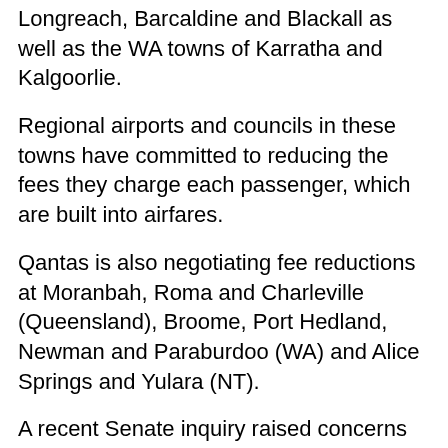Longreach, Barcaldine and Blackall as well as the WA towns of Karratha and Kalgoorlie.
Regional airports and councils in these towns have committed to reducing the fees they charge each passenger, which are built into airfares.
Qantas is also negotiating fee reductions at Moranbah, Roma and Charleville (Queensland), Broome, Port Hedland, Newman and Paraburdoo (WA) and Alice Springs and Yulara (NT).
A recent Senate inquiry raised concerns about the impact of airport charges on the price of airfares.
Qantas Domestic CEO Andrew David said many travellers were not using the airline's dedicated resident fare website and were paying more than they should.
“The existing discount program is proving to be extremely popular,” he said.